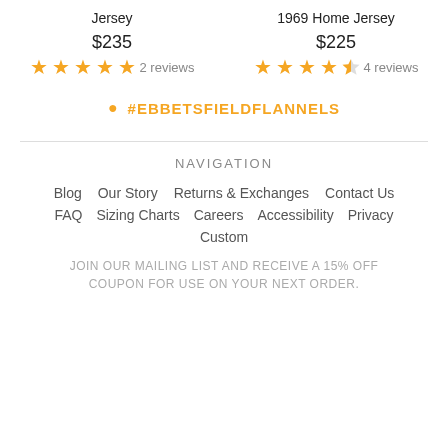Jersey
$235
★★★★★ 2 reviews
1969 Home Jersey
$225
★★★★½ 4 reviews
#EBBETSFIELDFLANNELS
NAVIGATION
Blog
Our Story
Returns & Exchanges
Contact Us
FAQ
Sizing Charts
Careers
Accessibility
Privacy
Custom
JOIN OUR MAILING LIST AND RECEIVE A 15% OFF COUPON FOR USE ON YOUR NEXT ORDER.